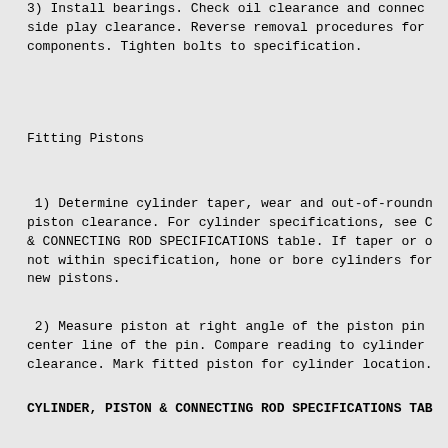3) Install bearings. Check oil clearance and connecting rod side play clearance. Reverse removal procedures for components. Tighten bolts to specification.
Fitting Pistons
1) Determine cylinder taper, wear and out-of-roundness to find piston clearance. For cylinder specifications, see CYLINDER & CONNECTING ROD SPECIFICATIONS table. If taper or out-of-round not within specification, hone or bore cylinders for new pistons.
2) Measure piston at right angle of the piston pin bore at center line of the pin. Compare reading to cylinder bore for clearance. Mark fitted piston for cylinder location.
CYLINDER, PISTON & CONNECTING ROD SPECIFICATIONS TABLE